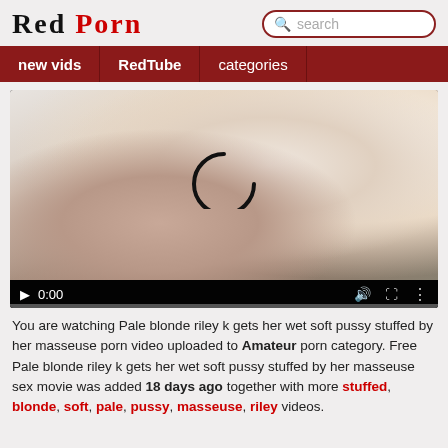Red Porn
[Figure (screenshot): Video player showing a blonde woman lying on a massage table, with playback controls showing 0:00]
You are watching Pale blonde riley k gets her wet soft pussy stuffed by her masseuse porn video uploaded to Amateur porn category. Free Pale blonde riley k gets her wet soft pussy stuffed by her masseuse sex movie was added 18 days ago together with more stuffed, blonde, soft, pale, pussy, masseuse, riley videos.